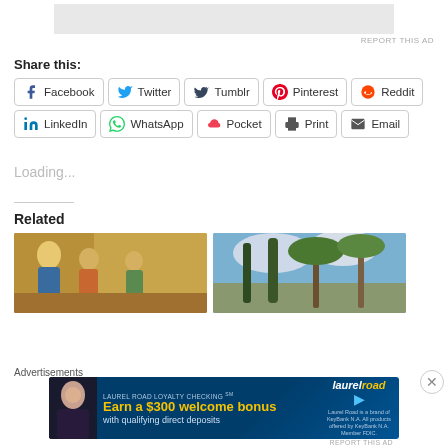[Figure (other): Top advertisement banner placeholder (gray rectangle)]
REPORT THIS AD
Share this:
Facebook  Twitter  Tumblr  Pinterest  Reddit  LinkedIn  WhatsApp  Pocket  Print  Email
Loading...
Related
[Figure (photo): Religious fresco or painting depicting figures on gold background]
[Figure (photo): Outdoor photo with palm trees and cypress trees against cloudy sky]
Advertisements
[Figure (other): Laurel Road Loyalty Checking advertisement: Earn a $300 welcome bonus with qualifying direct deposits]